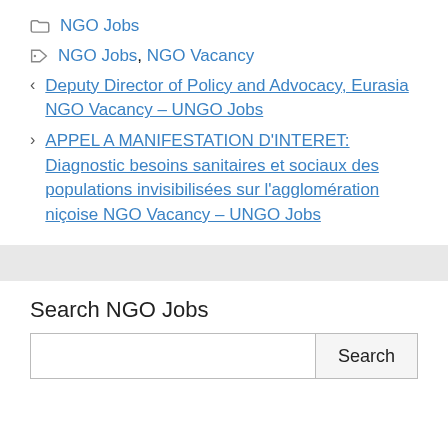NGO Jobs
NGO Jobs, NGO Vacancy
< Deputy Director of Policy and Advocacy, Eurasia NGO Vacancy – UNGO Jobs
> APPEL A MANIFESTATION D'INTERET: Diagnostic besoins sanitaires et sociaux des populations invisibilisées sur l'agglomération niçoise NGO Vacancy – UNGO Jobs
Search NGO Jobs
[Search input field] [Search button]